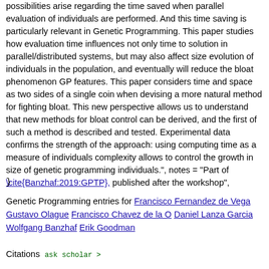possibilities arise regarding the time saved when parallel evaluation of individuals are performed. And this time saving is particularly relevant in Genetic Programming. This paper studies how evaluation time influences not only time to solution in parallel/distributed systems, but may also affect size evolution of individuals in the population, and eventually will reduce the bloat phenomenon GP features. This paper considers time and space as two sides of a single coin when devising a more natural method for fighting bloat. This new perspective allows us to understand that new methods for bloat control can be derived, and the first of such a method is described and tested. Experimental data confirms the strength of the approach: using computing time as a measure of individuals complexity allows to control the growth in size of genetic programming individuals.", notes = "Part of \cite{Banzhaf:2019:GPTP}, published after the workshop",
}
Genetic Programming entries for Francisco Fernandez de Vega Gustavo Olague Francisco Chavez de la O Daniel Lanza Garcia Wolfgang Banzhaf Erik Goodman
Citations  ask scholar >